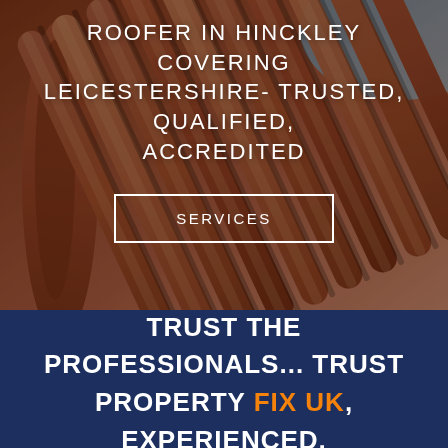[Figure (photo): Close-up photo of terracotta/clay roof tiles arranged in diagonal rows, warm reddish-brown color with blue sky visible in upper right corner.]
ROOFER IN HINCKLEY COVERING LEICESTERSHIRE- TRUSTED, QUALIFIED, ACCREDITED
SERVICES
TRUST THE PROFESSIONALS... TRUST PROPERTY FIX UK, EXPERIENCED,